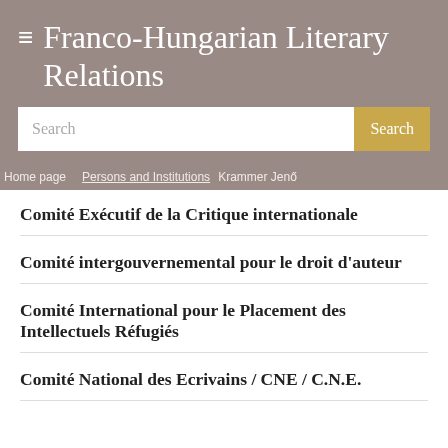Franco-Hungarian Literary Relations
Search
Home page / Persons and Institutions / Krammer Jenő
Comité Exécutif de la Critique internationale
Comité intergouvernemental pour le droit d'auteur
Comité International pour le Placement des Intellectuels Réfugiés
Comité National des Ecrivains / CNE / C.N.E.